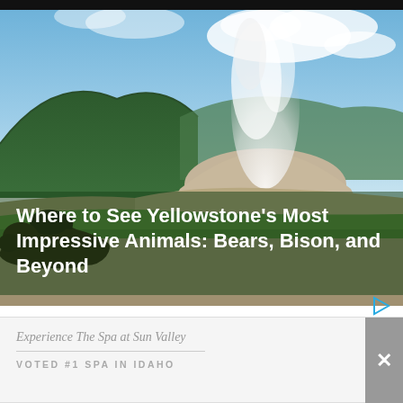[Figure (photo): Yellowstone landscape with a geyser (Old Faithful) erupting steam in the background, green hills and trees, sandy/rocky terrain, blue sky with clouds, and a dark bison silhouette in the lower left foreground.]
Where to See Yellowstone's Most Impressive Animals: Bears, Bison, and Beyond
Experience The Spa at Sun Valley
VOTED #1 SPA IN IDAHO